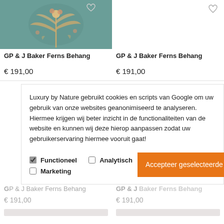[Figure (photo): Product image of GP & J Baker Ferns Behang wallpaper with floral/botanical pattern on teal background, top-left]
[Figure (photo): Heart/wishlist icon top-right of second product (no image visible, just icon)]
GP & J Baker Ferns Behang
GP & J Baker Ferns Behang
€ 191,00
€ 191,00
Luxury by Nature gebruikt cookies en scripts van Google om uw gebruik van onze websites geanonimiseerd te analyseren. Hiermee krijgen wij beter inzicht in de functionaliteiten van de website en kunnen wij deze hierop aanpassen zodat uw gebruikerservaring hiermee vooruit gaat!
Functioneel  Analytisch
Marketing
Accepteer geselecteerde cookies
GP & J Baker Ferns Behang
GP & J Baker Ferns Behang
€ 191,00
€ 191,00